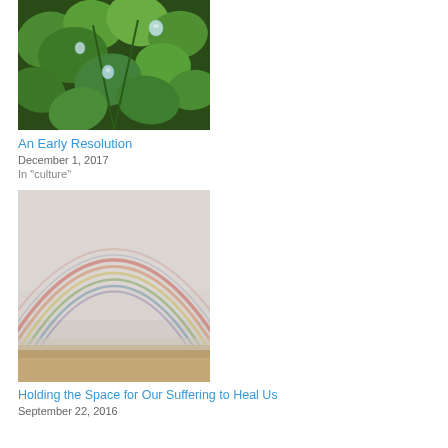[Figure (photo): Close-up photo of green clover leaves with water droplets]
An Early Resolution
December 1, 2017
In "culture"
[Figure (photo): Photo of a rainbow over a misty landscape with sandy/earthy foreground]
Holding the Space for Our Suffering to Heal Us
September 22, 2016